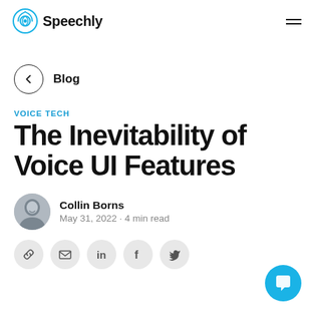Speechly
Blog
VOICE TECH
The Inevitability of Voice UI Features
Collin Borns
May 31, 2022 · 4 min read
[Figure (illustration): Social share icons: link, email, LinkedIn, Facebook, Twitter]